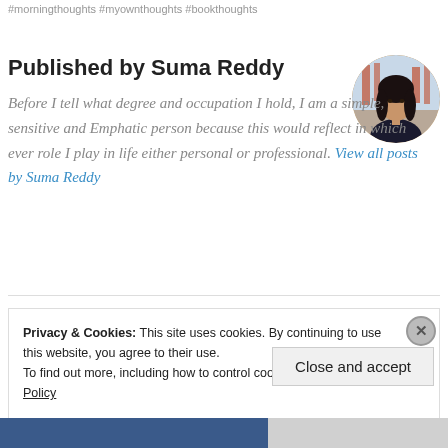#morningthoughts #myownthoughts #bookthoughts
Published by Suma Reddy
[Figure (photo): Circular profile photo of Suma Reddy, a woman with long dark hair, outdoors with red/orange background.]
Before I tell what degree and occupation I hold, I am a simple, sensitive and Emphatic person because this would reflect in which ever role I play in life either personal or professional. View all posts by Suma Reddy
Privacy & Cookies: This site uses cookies. By continuing to use this website, you agree to their use.
To find out more, including how to control cookies, see here: Cookie Policy
Close and accept